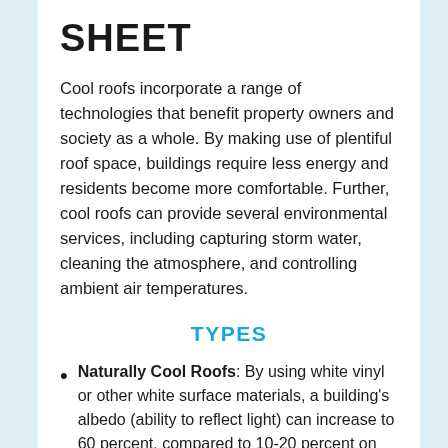SHEET
Cool roofs incorporate a range of technologies that benefit property owners and society as a whole. By making use of plentiful roof space, buildings require less energy and residents become more comfortable. Further, cool roofs can provide several environmental services, including capturing storm water, cleaning the atmosphere, and controlling ambient air temperatures.
TYPES
Naturally Cool Roofs: By using white vinyl or other white surface materials, a building's albedo (ability to reflect light) can increase to 60 percent, compared to 10-20 percent on